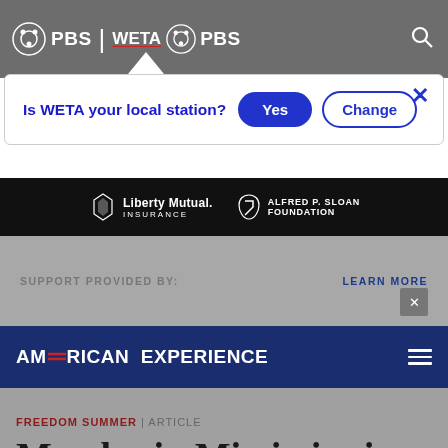[Figure (screenshot): PBS | WETA PBS navigation bar with search icon on gray background]
Is WETA your local station?
Yes
Change
[Figure (logo): Liberty Mutual Insurance logo in white on dark background]
[Figure (logo): Alfred P. Sloan Foundation logo in white on dark background]
SUPPORT PROVIDED BY:
LEARN MORE
[Figure (logo): American Experience logo on dark navy background with hamburger menu icon]
FREEDOM SUMMER | ARTICLE
Murder in Mississippi